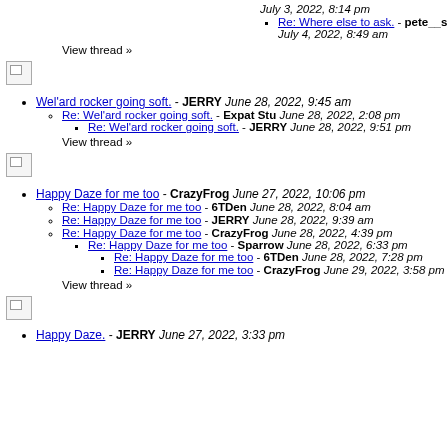July 3, 2022, 8:14 pm
Re: Where else to ask. - pete__s July 4, 2022, 8:49 am
View thread »
[Figure (other): Broken image placeholder]
Wel'ard rocker going soft. - JERRY June 28, 2022, 9:45 am
Re: Wel'ard rocker going soft. - Expat Stu June 28, 2022, 2:08 pm
Re: Wel'ard rocker going soft. - JERRY June 28, 2022, 9:51 pm
View thread »
[Figure (other): Broken image placeholder]
Happy Daze for me too - CrazyFrog June 27, 2022, 10:06 pm
Re: Happy Daze for me too - 6TDen June 28, 2022, 8:04 am
Re: Happy Daze for me too - JERRY June 28, 2022, 9:39 am
Re: Happy Daze for me too - CrazyFrog June 28, 2022, 4:39 pm
Re: Happy Daze for me too - Sparrow June 28, 2022, 6:33 pm
Re: Happy Daze for me too - 6TDen June 28, 2022, 7:28 pm
Re: Happy Daze for me too - CrazyFrog June 29, 2022, 3:58 pm
View thread »
[Figure (other): Broken image placeholder]
Happy Daze. - JERRY June 27, 2022, 3:33 pm